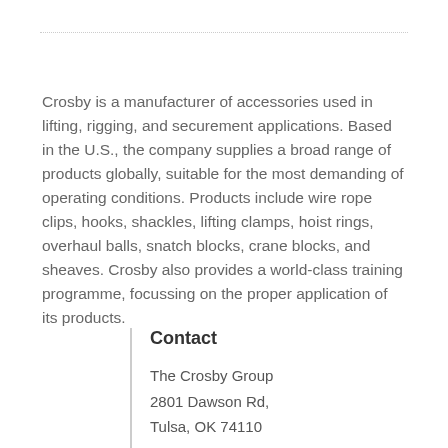Crosby is a manufacturer of accessories used in lifting, rigging, and securement applications. Based in the U.S., the company supplies a broad range of products globally, suitable for the most demanding of operating conditions. Products include wire rope clips, hooks, shackles, lifting clamps, hoist rings, overhaul balls, snatch blocks, crane blocks, and sheaves. Crosby also provides a world-class training programme, focussing on the proper application of its products.
Contact
The Crosby Group
2801 Dawson Rd,
Tulsa, OK 74110
USA